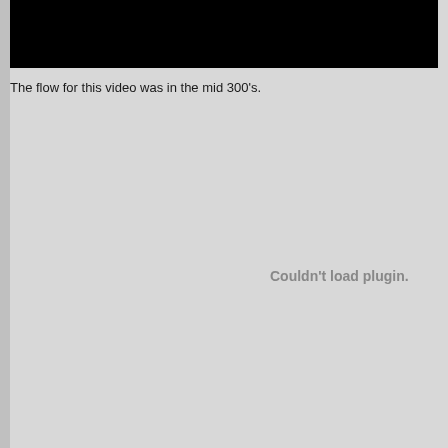[Figure (screenshot): Black rectangle representing a video player area with no content loaded]
The flow for this video was in the mid 300's.
Couldn't load plugin.